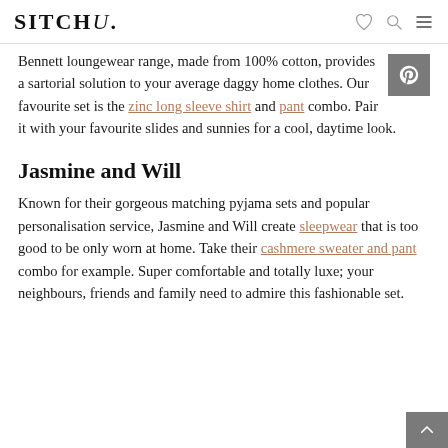SITCHU.
Bennett loungewear range, made from 100% cotton, provides a sartorial solution to your average daggy home clothes. Our favourite set is the zinc long sleeve shirt and pant combo. Pair it with your favourite slides and sunnies for a cool, daytime look.
Jasmine and Will
Known for their gorgeous matching pyjama sets and popular personalisation service, Jasmine and Will create sleepwear that is too good to be only worn at home. Take their cashmere sweater and pant combo for example. Super comfortable and totally luxe; your neighbours, friends and family need to admire this fashionable set.